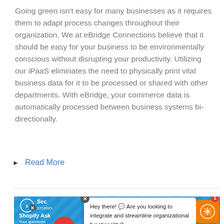Going green isn't easy for many businesses as it requires them to adapt process changes throughout their organization. We at eBridge Connections believe that it should be easy for your business to be environmentally conscious without disrupting your productivity. Utilizing our iPaaS eliminates the need to physically print vital business data for it to be processed or shared with other departments. With eBridge, your commerce data is automatically processed between business systems bi-directionally.
Read More
[Figure (screenshot): Banner advertisement for Shopify integration service with a chat popup overlay saying 'Hey there! Are you looking to integrate and streamline organizational functionality?']